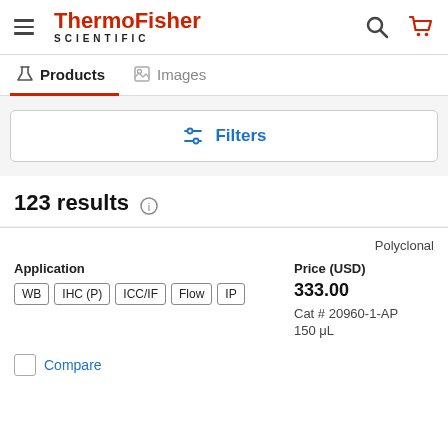[Figure (logo): ThermoFisher Scientific logo with hamburger menu icon]
Products | Images tabs
[Figure (other): Filters button with sliders icon]
123 results
Polyclonal
Application
WB  IHC (P)  ICC/IF  Flow  IP
Price (USD)
333.00
Cat # 20960-1-AP
150 μL
Compare